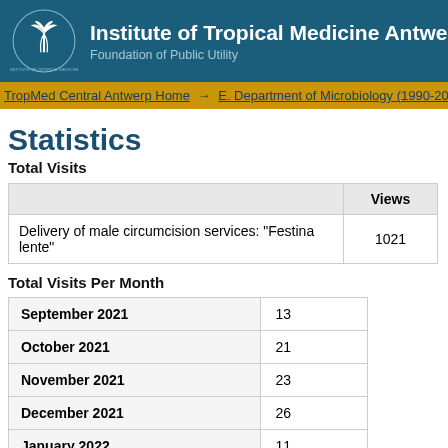Institute of Tropical Medicine Antwerp — Foundation of Public Utility
TropMed Central Antwerp Home → E. Department of Microbiology (1990-20
Statistics
Total Visits
|  | Views |
| --- | --- |
| Delivery of male circumcision services: "Festina lente" | 1021 |
Total Visits Per Month
| September 2021 | 13 |
| October 2021 | 21 |
| November 2021 | 23 |
| December 2021 | 26 |
| January 2022 | 11 |